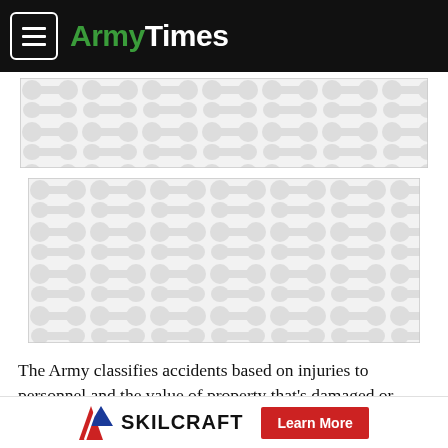ArmyTimes
[Figure (other): Advertisement placeholder image with dumbbell/chain-link pattern, first banner]
[Figure (other): Advertisement placeholder image with dumbbell/chain-link pattern, second larger banner]
The Army classifies accidents based on injuries to personnel and the value of property that’s damaged or destroyed.
Though fatalities are high, the total number of vehicle mishaps has actually declined over fiscal 2017, 2018 and so far this year, according to the service.
SKILCRAFT Learn More